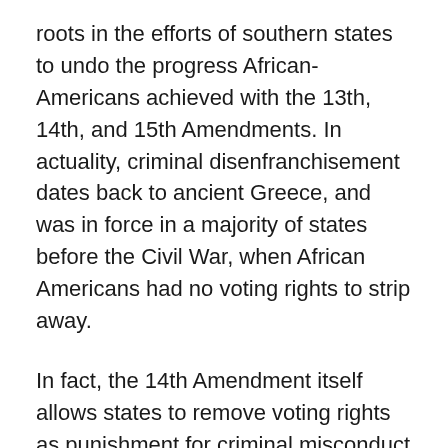roots in the efforts of southern states to undo the progress African-Americans achieved with the 13th, 14th, and 15th Amendments. In actuality, criminal disenfranchisement dates back to ancient Greece, and was in force in a majority of states before the Civil War, when African Americans had no voting rights to strip away.
In fact, the 14th Amendment itself allows states to remove voting rights as punishment for criminal misconduct an odd thing for Congress to include in an amendment intended to protect the civil rights of former slaves, if Sanders's assertions are to believed.
Yes, there were detestable efforts in the past to block voting rights based on race, but that isn't the